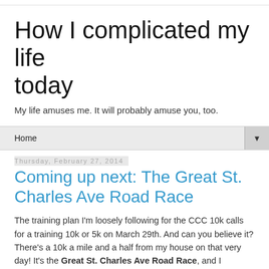How I complicated my life today
My life amuses me. It will probably amuse you, too.
Home
Thursday, February 27, 2014
Coming up next: The Great St. Charles Ave Road Race
The training plan I'm loosely following for the CCC 10k calls for a training 10k or 5k on March 29th. And can you believe it? There's a 10k a mile and a half from my house on that very day! It's the Great St. Charles Ave Road Race, and I